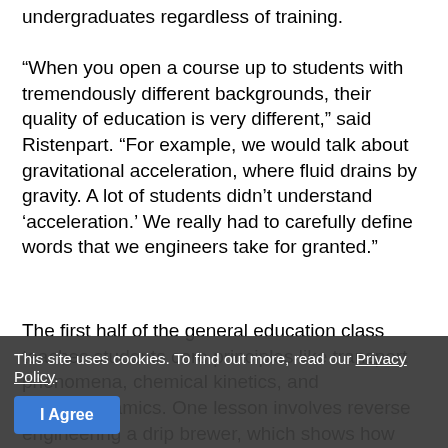undergraduates regardless of training.
“When you open a course up to students with tremendously different backgrounds, their quality of education is very different,” said Ristenpart. “For example, we would talk about gravitational acceleration, where fluid drains by gravity. A lot of students didn’t understand ‘acceleration.’ We really had to carefully define words that we engineers take for granted.”
The first half of the general education class teaches students core principles like transport phenomena, chemical kinetics, and thermodynamics. One lesson involves reverse engineering a drip brewer, which shows how fluid mechanics principles operate inside coffee makers. The students learn how to use the conservation of mass to determine what amounts of water and coffee grounds yield exactly one kilogram of coffee—a tutorial that is helpful for the course’s final assignment.
Students also get to roast green coffee beans. Roasting involves a chemical process known as the Maillard reaction, in which sugars combine with proteins and turn the beans into...
This site uses cookies. To find out more, read our Privacy Policy.